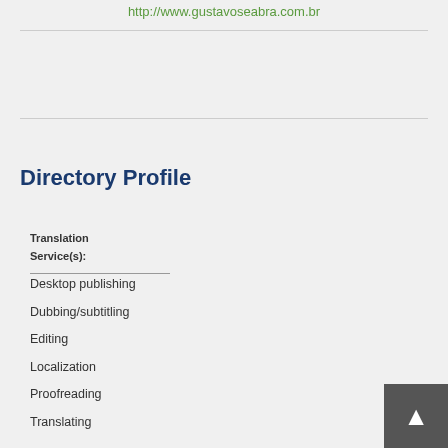http://www.gustavoseabra.com.br
Directory Profile
Translation Service(s):
Desktop publishing
Dubbing/subtitling
Editing
Localization
Proofreading
Translating